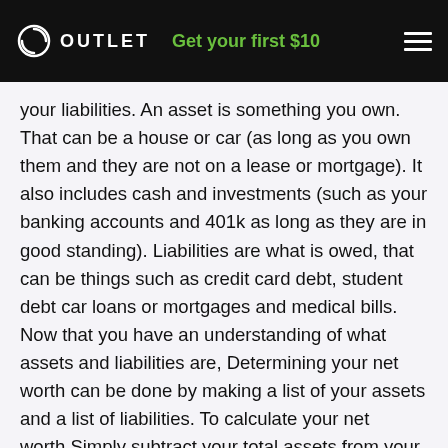OUTLET — Get your first $10
your liabilities. An asset is something you own. That can be a house or car (as long as you own them and they are not on a lease or mortgage). It also includes cash and investments (such as your banking accounts and 401k as long as they are in good standing). Liabilities are what is owed, that can be things such as credit card debt, student debt car loans or mortgages and medical bills. Now that you have an understanding of what assets and liabilities are, Determining your net worth can be done by making a list of your assets and a list of liabilities. To calculate your net worth,Simply subtract your total assets from your total liabilities. By knowing your net worth you will be able to set a better course for